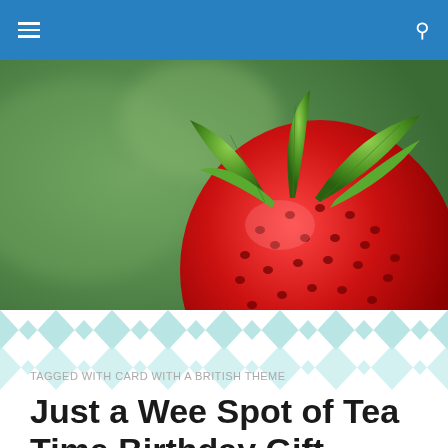[Figure (photo): Close-up macro photograph of a red strawberry with green leaves against a blurred green background]
[Figure (illustration): Chevron zigzag pattern band in light teal/cyan color on white background]
TAGGED WITH CARD WITH A BRITISH THEME
Just a Wee Spot of Tea Time Birthday Gift